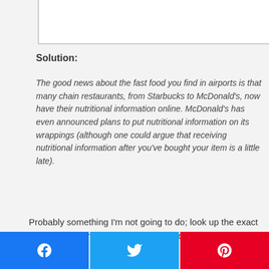[Figure (other): White box / content area top border element]
Solution:
The good news about the fast food you find in airports is that many chain restaurants, from Starbucks to McDonald's, now have their nutritional information online. McDonald's has even announced plans to put nutritional information on its wrappings (although one could argue that receiving nutritional information after you've bought your item is a little late).
Probably something I'm not going to do; look up the exact calories of everything, but try to look for menu items that
[Figure (other): Social share bar with Facebook, Twitter, and Pinterest buttons]